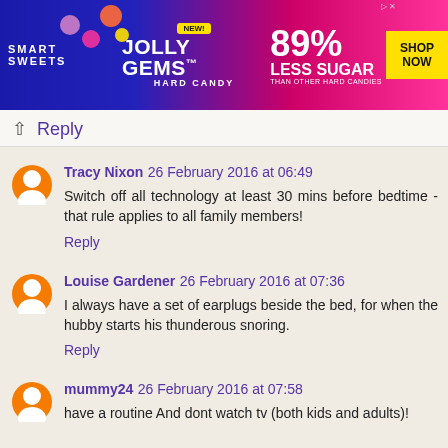[Figure (photo): Smart Sweets Jolly Gems Hard Candy advertisement banner. Blue/pink gradient background with colorful candy graphics. Text reads: NEW! JOLLY GEMS HARD CANDY by SMART SWEETS. 89% LESS SUGAR THAN OTHER HARD CANDIES. SHOP NOW button.]
Reply
Tracy Nixon 26 February 2016 at 06:49
Switch off all technology at least 30 mins before bedtime - that rule applies to all family members!
Reply
Louise Gardener 26 February 2016 at 07:36
I always have a set of earplugs beside the bed, for when the hubby starts his thunderous snoring.
Reply
mummy24 26 February 2016 at 07:58
have a routine And dont watch tv (both kids and adults)!